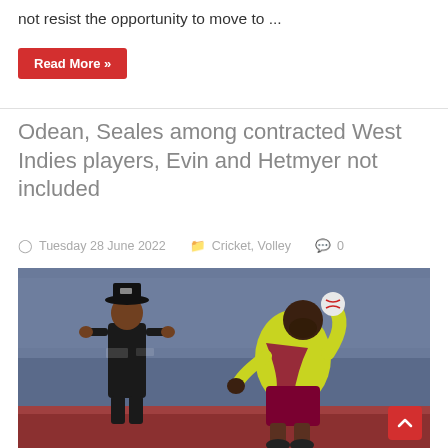not resist the opportunity to move to ...
Read More »
Odean, Seales among contracted West Indies players, Evin and Hetmyer not included
Tuesday 28 June 2022   Cricket, Volley   0
[Figure (photo): A West Indies cricket player in yellow and maroon kit bowling, with an umpire in black standing behind]